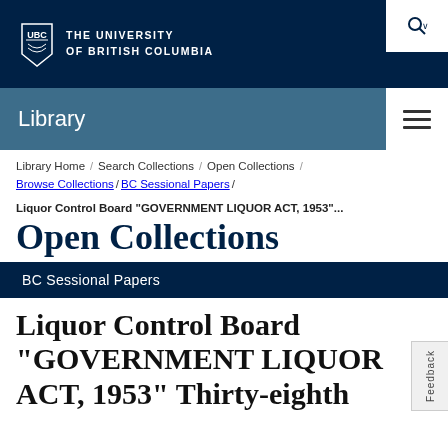THE UNIVERSITY OF BRITISH COLUMBIA — Library
Library Home / Search Collections / Open Collections / Browse Collections / BC Sessional Papers /
Liquor Control Board "GOVERNMENT LIQUOR ACT, 1953"...
Open Collections
BC Sessional Papers
Liquor Control Board "GOVERNMENT LIQUOR ACT, 1953" Thirty-eighth